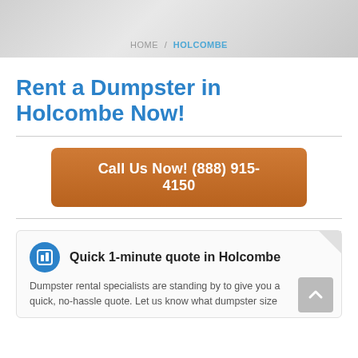HOME / HOLCOMBE
Rent a Dumpster in Holcombe Now!
Call Us Now! (888) 915-4150
Quick 1-minute quote in Holcombe
Dumpster rental specialists are standing by to give you a quick, no-hassle quote. Let us know what dumpster size